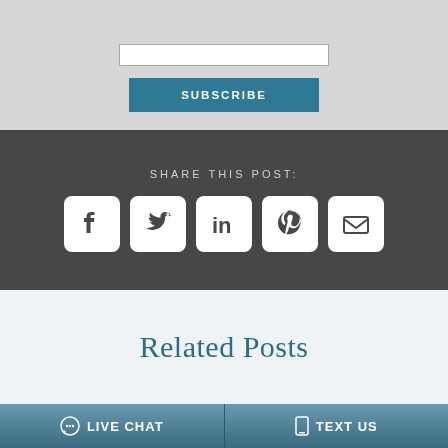[Figure (screenshot): Subscribe input box and button on light gray background]
[Figure (infographic): Share This Post section with social media icons: Facebook, Twitter, LinkedIn, Pinterest, Email on dark gray background]
Related Posts
[Figure (infographic): Bottom bar with Live Chat and Text Us buttons]